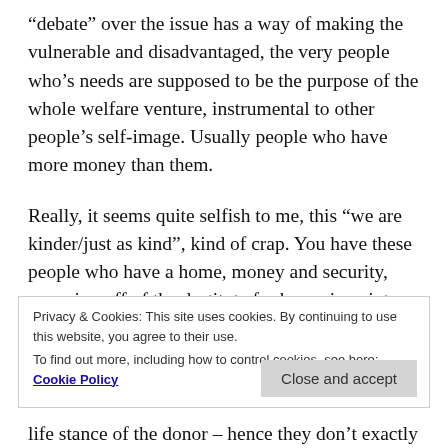“debate” over the issue has a way of making the vulnerable and disadvantaged, the very people who’s needs are supposed to be the purpose of the whole welfare venture, instrumental to other people’s self-image. Usually people who have more money than them.
Really, it seems quite selfish to me, this “we are kinder/just as kind”, kind of crap. You have these people who have a home, money and security, sponging off of the destitute for brownie points.
I’ve seen it in religious apologetics with the use of
Privacy & Cookies: This site uses cookies. By continuing to use this website, you agree to their use.
To find out more, including how to control cookies, see here: Cookie Policy
life stance of the donor – hence they don’t exactly